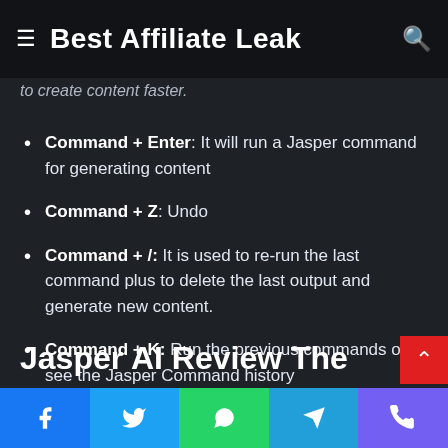Best Affiliate Leak
to create content faster.
Command + Enter: It will run a Jasper command for generating content
Command + Z: Undo
Command + /: It is used to re-run the last command plus to delete the last output and generate new content.
Command + K: Run the previous commands or see the Jasper Command history
Command + J: Jasper tends to compose output by using this command
Jasper AI Review The